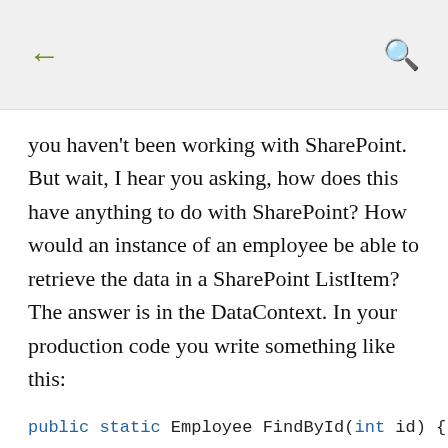← (back) 🔍 (search)
you haven't been working with SharePoint. But wait, I hear you asking, how does this have anything to do with SharePoint? How would an instance of an employee be able to retrieve the data in a SharePoint ListItem? The answer is in the DataContext. In your production code you write something like this: